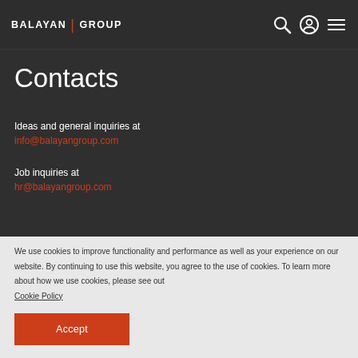BALAYAN | GROUP
Contacts
Ideas and general inquiries at
info@balayangroup.com
Job inquiries at
hr@balayangroup.com
We use cookies to improve functionality and performance as well as your experience on our website. By continuing to use this website, you agree to the use of cookies. To learn more about how we use cookies, please see out Cookie Policy
Accept